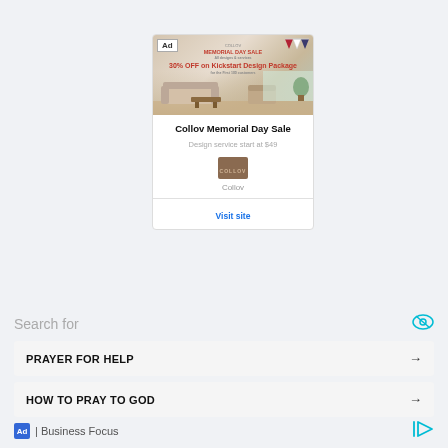[Figure (screenshot): Collov Memorial Day Sale advertisement card with a promotional banner image showing a modern living room interior, overlaid with sale text. Below the image: title 'Collov Memorial Day Sale', description 'Design service start at $49', a brown Collov logo square, the brand name 'Collov', and a 'Visit site' link.]
Search for
PRAYER FOR HELP →
HOW TO PRAY TO GOD →
Ad | Business Focus